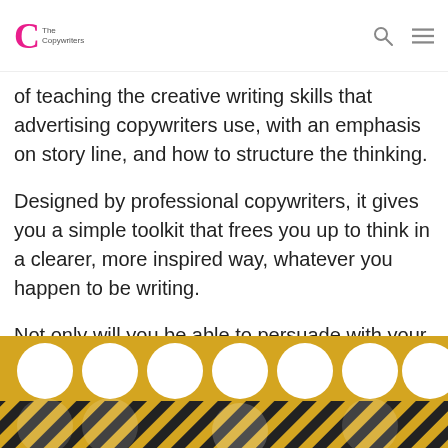The Copywriters
of teaching the creative writing skills that advertising copywriters use, with an emphasis on story line, and how to structure the thinking.
Designed by professional copywriters, it gives you a simple toolkit that frees you up to think in a clearer, more inspired way, whatever you happen to be writing.
Not only will you be able to persuade with your writing, putting ideas into words will become a whole lot more enjoyable to do
[Figure (illustration): Gold/yellow background with white circles arranged in rows and diagonal black and yellow stripe pattern at bottom]